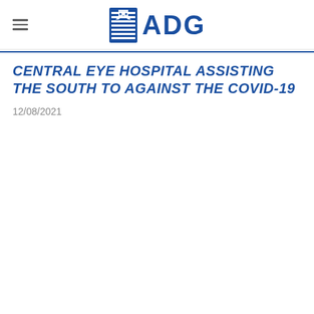ADG
CENTRAL EYE HOSPITAL ASSISTING THE SOUTH TO AGAINST THE COVID-19
12/08/2021